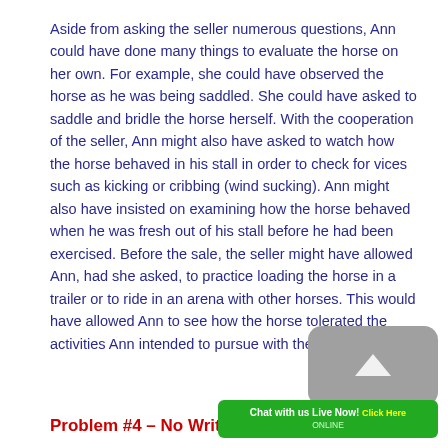Aside from asking the seller numerous questions, Ann could have done many things to evaluate the horse on her own. For example, she could have observed the horse as he was being saddled. She could have asked to saddle and bridle the horse herself. With the cooperation of the seller, Ann might also have asked to watch how the horse behaved in his stall in order to check for vices such as kicking or cribbing (wind sucking). Ann might also have insisted on examining how the horse behaved when he was fresh out of his stall before he had been exercised. Before the sale, the seller might have allowed Ann, had she asked, to practice loading the horse in a trailer or to ride in an arena with other horses. This would have allowed Ann to see how the horse tolerated the activities Ann intended to pursue with the horse.
Problem #4 – No Written Sales Agreement